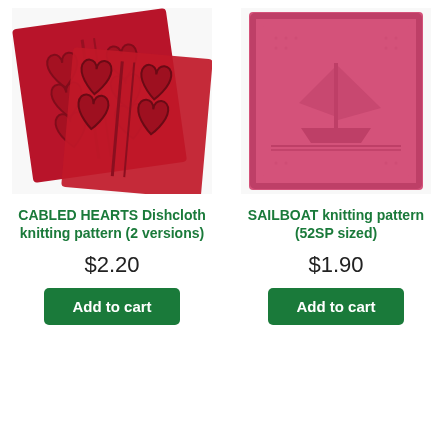[Figure (photo): Red cable-knit dishcloth with heart patterns, two pieces overlapping on white background]
[Figure (photo): Pink knitted dishcloth with sailboat pattern on white background]
CABLED HEARTS Dishcloth knitting pattern (2 versions)
SAILBOAT knitting pattern (52SP sized)
$2.20
$1.90
Add to cart
Add to cart